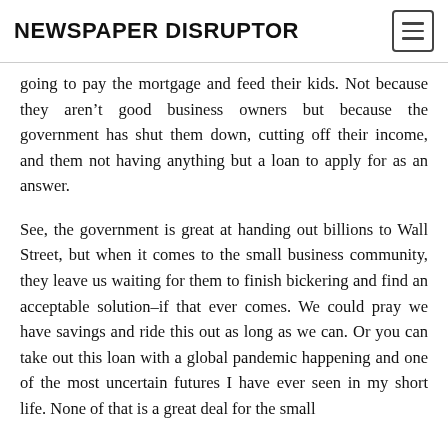NEWSPAPER DISRUPTOR
going to pay the mortgage and feed their kids. Not because they aren't good business owners but because the government has shut them down, cutting off their income, and them not having anything but a loan to apply for as an answer.
See, the government is great at handing out billions to Wall Street, but when it comes to the small business community, they leave us waiting for them to finish bickering and find an acceptable solution–if that ever comes. We could pray we have savings and ride this out as long as we can. Or you can take out this loan with a global pandemic happening and one of the most uncertain futures I have ever seen in my short life. None of that is a great deal for the small